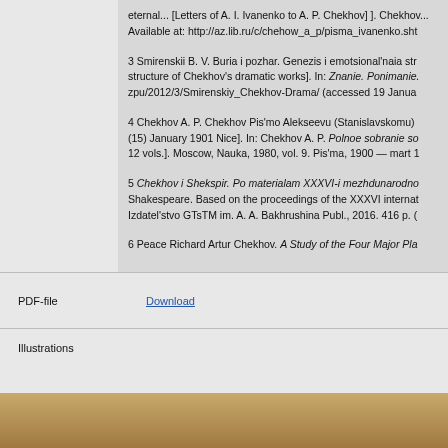eternal... [Letters of A. I. Ivanenko to A. P. Chekhov]. Chekhov... Available at: http://az.lib.ru/c/chehow_a_p/pisma_ivanenko.sht
3 Smirenskii B. V. Buria i pozhar. Genezis i emotsional'naia str... structure of Chekhov's dramatic works]. In: Znanie. Ponimanie. zpu/2012/3/Smirenskiy_Chekhov-Drama/ (accessed 19 Janua...
4 Chekhov A. P. Chekhov Pis'mo Alekseevu (Stanislavskomu)... (15) January 1901 Nice]. In: Chekhov A. P. Polnoe sobranie so... 12 vols.]. Moscow, Nauka, 1980, vol. 9. Pis'ma, 1900 — mart 1...
5 Chekhov i Shekspir. Po materialam XXXVI-i mezhdunarodno... Shakespeare. Based on the proceedings of the XXXVI internat... Izdatel'stvo GTsTM im. A. A. Bakhrushina Publ., 2016. 416 p. (...
6 Peace Richard Artur Chekhov. A Study of the Four Major Pla...
PDF-file
Download
Illustrations